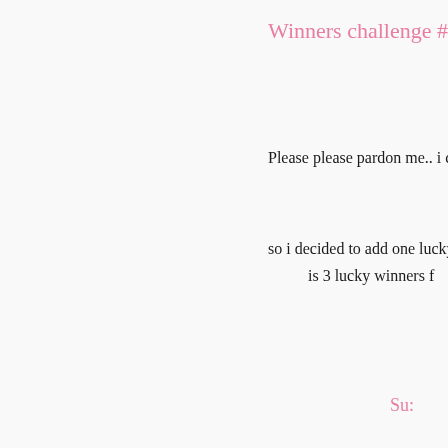Winners challenge #31
Please please pardon me.. i c
so i decided to add one lucky w
is 3 lucky winners f
Su: